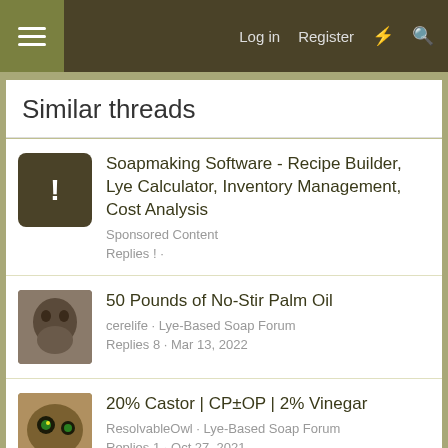Log in  Register
Similar threads
Soapmaking Software - Recipe Builder, Lye Calculator, Inventory Management, Cost Analysis
Sponsored Content
Replies ! ·
50 Pounds of No-Stir Palm Oil
cerelife · Lye-Based Soap Forum
Replies 8 · Mar 13, 2022
20% Castor | CP±OP | 2% Vinegar
ResolvableOwl · Lye-Based Soap Forum
Replies 1 · Oct 27, 2021
SMF May 2022 Challenge - Infinity Swirl
earlene · Lye-Based Soap Forum
Replies 73 · Jun 6, 2022